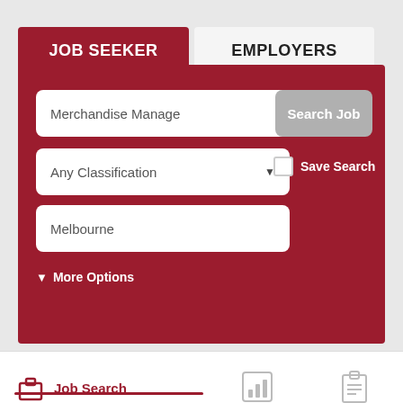JOB SEEKER
EMPLOYERS
Merchandise Manage
Any Classification
Melbourne
Search Job
Save Search
More Options
Job Search